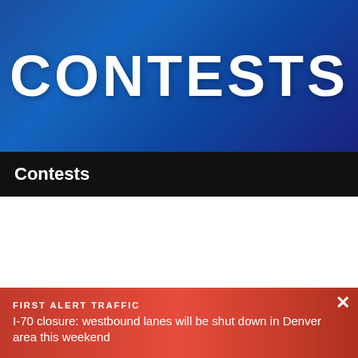[Figure (illustration): Blue gradient banner with large white bold text reading CONTESTS]
Contests
Sports News
[Figure (photo): Stadium with field goal posts and crowd, sports event]
FIRST ALERT TRAFFIC
I-70 closure: westbound lanes will be shut down in Denver area this weekend